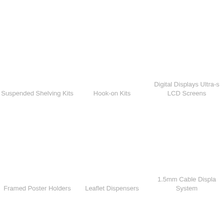Suspended Shelving Kits
Hook-on Kits
Digital Displays Ultra-slim LCD Screens
Framed Poster Holders
Leaflet Dispensers
1.5mm Cable Display System